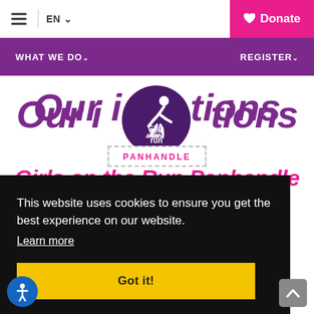≡ | EN ∨   ♡ Donate
WHAT WE DO∨   REGISTER∨
[Figure (logo): Girls on the Run Panhandle logo — circular dark purple badge with running figure silhouette and text 'Girls on the run', with 'PANHANDLE' in pink on a dashed banner below]
Our [logo] tions
This website uses cookies to ensure you get the best experience on our website.
Learn more
Got it!